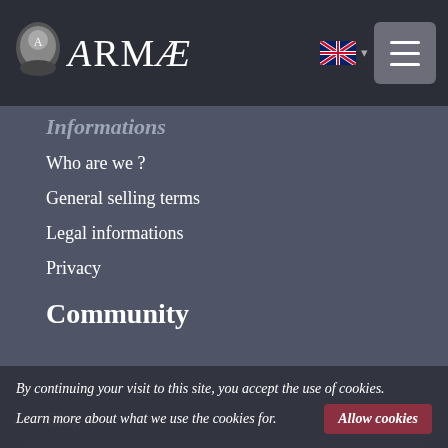ARMÆ navigation header with logo and menu
Informations
Who are we ?
General selling terms
Legal informations
Privacy
Community
Blog
ARMAE is a company, registered in France, Romans, under
By continuing your visit to this site, you accept the use of cookies. Learn more about what we use the cookies for. Allow cookies